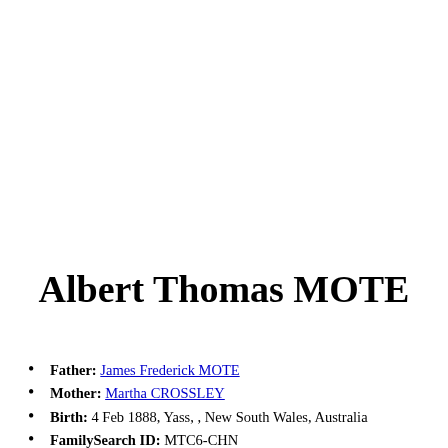Albert Thomas MOTE
Father: James Frederick MOTE
Mother: Martha CROSSLEY
Birth: 4 Feb 1888, Yass, , New South Wales, Australia
FamilySearch ID: MTC6-CHN
Parents (Father and their ancestors)